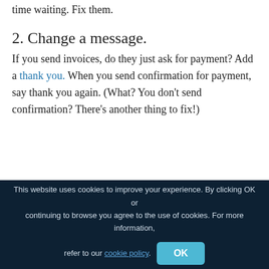time waiting. Fix them.
2. Change a message.
If you send invoices, do they just ask for payment? Add a thank you. When you send confirmation for payment, say thank you again. (What? You don't send confirmation? There's another thing to fix!)
This website uses cookies to improve your experience. By clicking OK or continuing to browse you agree to the use of cookies. For more information, refer to our cookie policy. OK